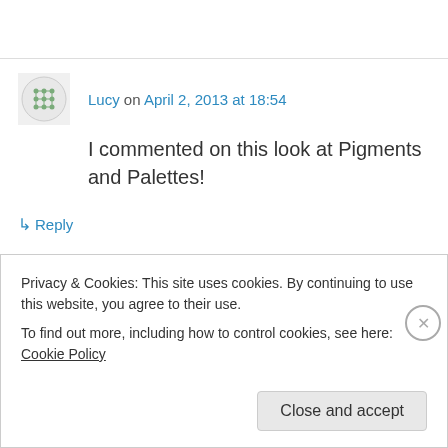Lucy on April 2, 2013 at 18:54
I commented on this look at Pigments and Palettes!
↳ Reply
Privacy & Cookies: This site uses cookies. By continuing to use this website, you agree to their use. To find out more, including how to control cookies, see here: Cookie Policy
Close and accept